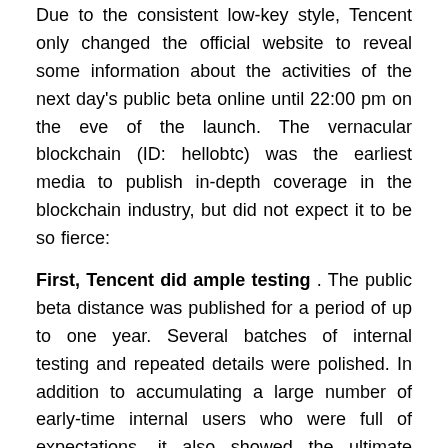Due to the consistent low-key style, Tencent only changed the official website to reveal some information about the activities of the next day's public beta online until 22:00 pm on the eve of the launch. The vernacular blockchain (ID: hellobtc) was the earliest media to publish in-depth coverage in the blockchain industry, but did not expect it to be so fierce:
First, Tencent did ample testing . The public beta distance was published for a period of up to one year. Several batches of internal testing and repeated details were polished. In addition to accumulating a large number of early-time internal users who were full of expectations, it also showed the ultimate experience of Dachang products during public beta. .
Second, Tencent has used a lot of resources online and offline . Needless to say, the traffic of Tencent's